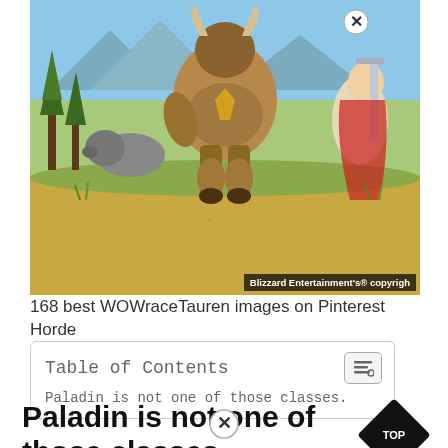[Figure (illustration): Fantasy game art showing large Tauren character (World of Warcraft) with two other characters in a grassy outdoor scene. Copyright badge reads 'Blizzard Entertainment's® copyrigh']
168 best WOWraceTauren images on Pinterest Horde
| Table of Contents |  |
| Paladin is not one of those classes. |  |
Paladin is not one of those classes.